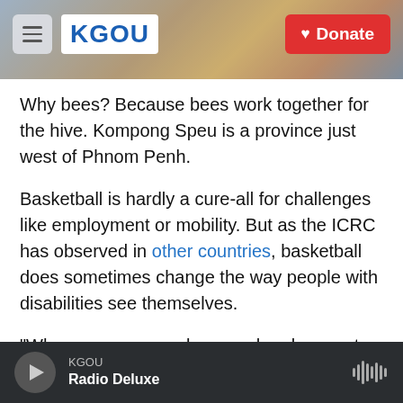KGOU — Donate
Why bees? Because bees work together for the hive. Kompong Speu is a province just west of Phnom Penh.
Basketball is hardly a cure-all for challenges like employment or mobility. But as the ICRC has observed in other countries, basketball does sometimes change the way people with disabilities see themselves.
"When you see people now who play sports — and you hear them say it too — they really have energy for other things and confidence in other things in
KGOU — Radio Deluxe